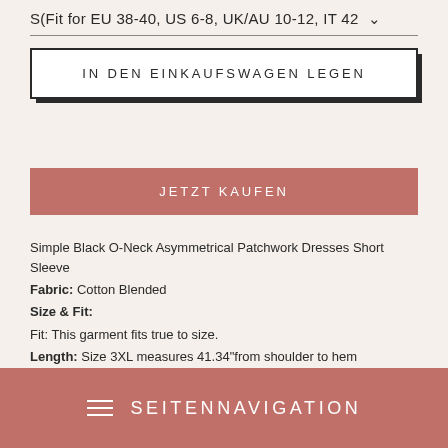S(Fit for EU 38-40, US 6-8, UK/AU 10-12, IT 42 ˅
IN DEN EINKAUFSWAGEN LEGEN
JETZT KAUFEN
Simple Black O-Neck Asymmetrical Patchwork Dresses Short Sleeve
Fabric: Cotton Blended
Size & Fit:
Fit: This garment fits true to size.
Length: Size 3XL measures 41.34"from shoulder to hem
Bust: Great for any cup size.
≡  SEITENNAVIGATION